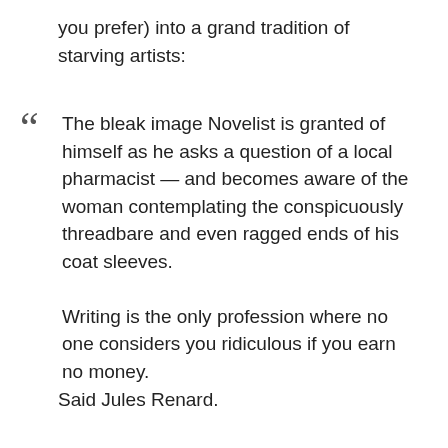you prefer) into a grand tradition of starving artists:
The bleak image Novelist is granted of himself as he asks a question of a local pharmacist — and becomes aware of the woman contemplating the conspicuously threadbare and even ragged ends of his coat sleeves.

Writing is the only profession where no one considers you ridiculous if you earn no money.
Said Jules Renard.